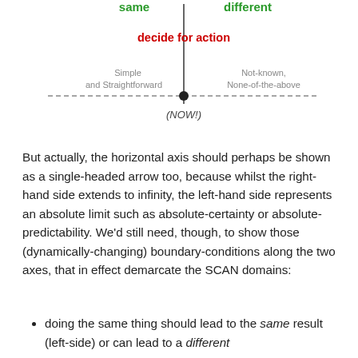[Figure (schematic): Diagram showing a vertical axis and horizontal dashed axis intersecting at a filled circle dot. Above the intersection on the vertical axis are two green labels: 'same' (left) and 'different' (right). In red bold text: 'decide for action'. Below the intersection on the horizontal axis: 'Simple and Straightforward' (left, gray) and 'Not-known, None-of-the-above' (right, gray). Below the dot in italics: '(NOW!)']
But actually, the horizontal axis should perhaps be shown as a single-headed arrow too, because whilst the right-hand side extends to infinity, the left-hand side represents an absolute limit such as absolute-certainty or absolute-predictability. We’d still need, though, to show those (dynamically-changing) boundary-conditions along the two axes, that in effect demarcate the SCAN domains:
doing the same thing should lead to the same result (left-side) or can lead to a different